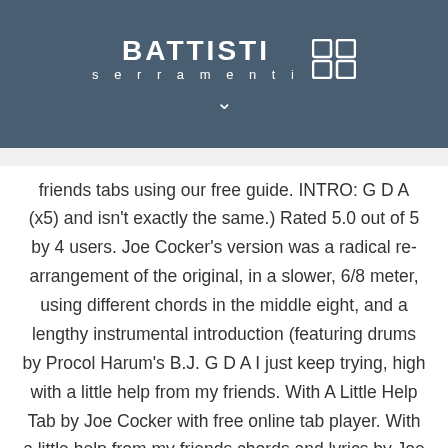[Figure (logo): Battisti Serramenti logo with brand name and grid icon on dark blue-grey header bar, with a chevron/down-arrow below]
friends tabs using our free guide. INTRO: G D A (x5) and isn't exactly the same.) Rated 5.0 out of 5 by 4 users. Joe Cocker's version was a radical re-arrangement of the original, in a slower, 6/8 meter, using different chords in the middle eight, and a lengthy instrumental introduction (featuring drums by Procol Harum's B.J. G D A I just keep trying, high with a little help from my friends. With A Little Help Tab by Joe Cocker with free online tab player. With a little help from my friends chords and lyrics by Joe Cocker at TAB4U.COM edited by professional musicians only. G D A I just keep trying, high with a little help from my friends. (by with a little help of my friends) Gonna get by with my